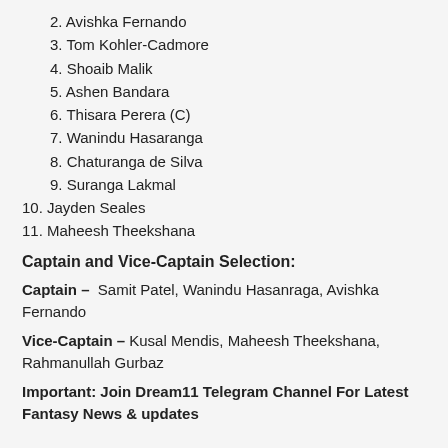2. Avishka Fernando
3. Tom Kohler-Cadmore
4. Shoaib Malik
5. Ashen Bandara
6. Thisara Perera (C)
7. Wanindu Hasaranga
8. Chaturanga de Silva
9. Suranga Lakmal
10. Jayden Seales
11. Maheesh Theekshana
Captain and Vice-Captain Selection:
Captain – Samit Patel, Wanindu Hasanraga, Avishka Fernando
Vice-Captain – Kusal Mendis, Maheesh Theekshana, Rahmanullah Gurbaz
Important: Join Dream11 Telegram Channel For Latest Fantasy News & updates